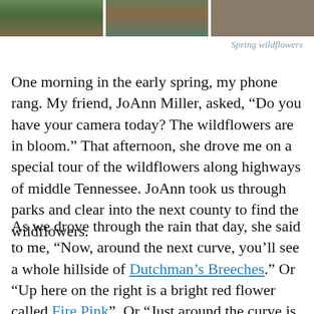[Figure (photo): Three photos of spring wildflowers arranged in a horizontal strip at the top of the page]
Spring wildflowers
One morning in the early spring, my phone rang. My friend, JoAnn Miller, asked, “Do you have your camera today? The wildflowers are in bloom.” That afternoon, she drove me on a special tour of the wildflowers along highways of middle Tennessee. JoAnn took us through parks and clear into the next county to find the wildflowers.
As we drove through the rain that day, she said to me, “Now, around the next curve, you’ll see a whole hillside of Dutchman’s Breeches.” Or “Up here on the right is a bright red flower called Fire Pink”. Or “Just around the curve is the…